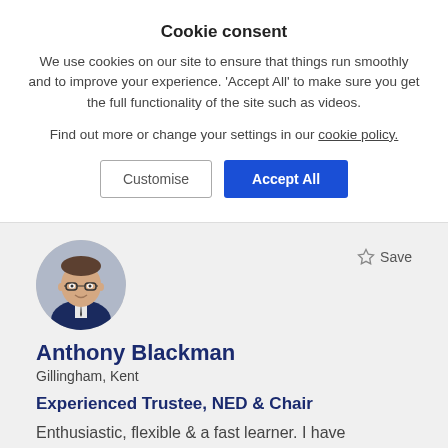Cookie consent
We use cookies on our site to ensure that things run smoothly and to improve your experience. 'Accept All' to make sure you get the full functionality of the site such as videos.
Find out more or change your settings in our cookie policy.
[Figure (screenshot): Two buttons: 'Customise' (outlined) and 'Accept All' (blue filled)]
[Figure (photo): Circular profile photo of Anthony Blackman, a man with glasses wearing a suit]
Save
Anthony Blackman
Gillingham, Kent
Experienced Trustee, NED & Chair
Enthusiastic, flexible & a fast learner. I have experience with director/trustee roles with